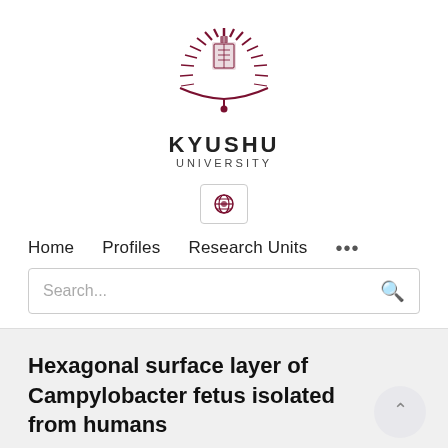[Figure (logo): Kyushu University logo — a stylized sunburst/feather emblem in dark red/maroon with a small crest in the center]
KYUSHU
UNIVERSITY
[Figure (other): Globe icon inside a bordered box representing a language/region selector]
Home   Profiles   Research Units   ...
Search...
Hexagonal surface layer of Campylobacter fetus isolated from humans